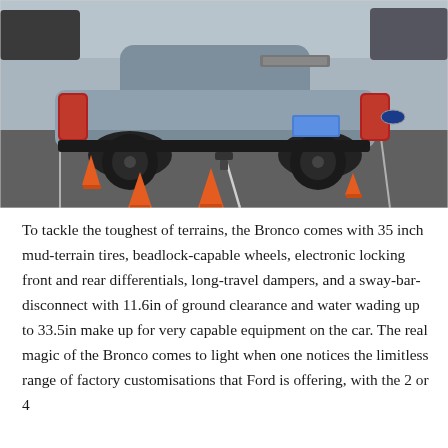[Figure (photo): Rear three-quarter view of a gray Ford Bronco Sport SUV parked in a parking lot with orange traffic cones placed around it. The vehicle has black wheels, red taillights, and a blue license plate. Additional vehicles are visible in the background.]
To tackle the toughest of terrains, the Bronco comes with 35 inch mud-terrain tires, beadlock-capable wheels, electronic locking front and rear differentials, long-travel dampers, and a sway-bar-disconnect with 11.6in of ground clearance and water wading up to 33.5in make up for very capable equipment on the car. The real magic of the Bronco comes to light when one notices the limitless range of factory customisations that Ford is offering, with the 2 or 4